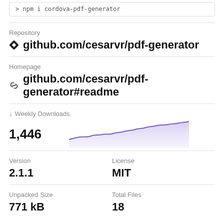> npm i cordova-pdf-generator
Repository
github.com/cesarvr/pdf-generator
Homepage
github.com/cesarvr/pdf-generator#readme
Weekly Downloads
[Figure (area-chart): Area chart showing weekly downloads trend for cordova-pdf-generator, rising from left to right with a purple line and shaded area, ending at approximately 1,446 downloads.]
1,446
Version
2.1.1
License
MIT
Unpacked Size
771 kB
Total Files
18